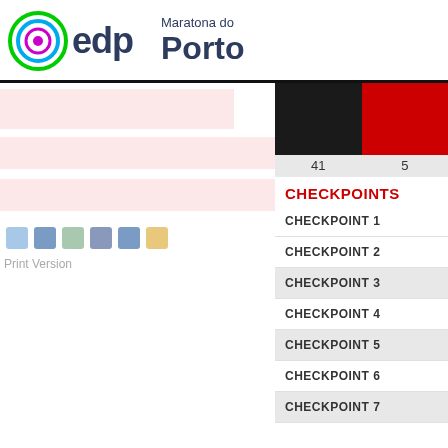[Figure (logo): EDP Maratona do Porto logo with circular EDP emblem and text]
CHECKPOINTS
CHECKPOINT 1
CHECKPOINT 2
CHECKPOINT 3
CHECKPOINT 4
CHECKPOINT 5
CHECKPOINT 6
CHECKPOINT 7